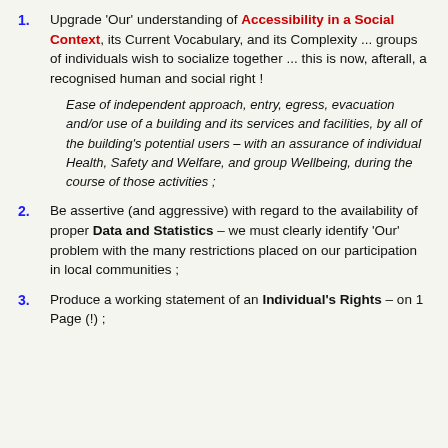1. Upgrade 'Our' understanding of Accessibility in a Social Context, its Current Vocabulary, and its Complexity ... groups of individuals wish to socialize together ... this is now, afterall, a recognised human and social right !
Ease of independent approach, entry, egress, evacuation and/or use of a building and its services and facilities, by all of the building's potential users – with an assurance of individual Health, Safety and Welfare, and group Wellbeing, during the course of those activities ;
2. Be assertive (and aggressive) with regard to the availability of proper Data and Statistics – we must clearly identify 'Our' problem with the many restrictions placed on our participation in local communities ;
3. Produce a working statement of an Individual's Rights – on 1 Page (!) ;